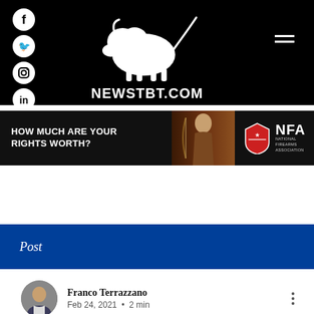NEWSTBT.COM — header with social icons (Facebook, Twitter, Instagram, LinkedIn) and hamburger menu
[Figure (infographic): NFA advertisement banner: 'HOW MUCH ARE YOUR RIGHTS WORTH?' with a person holding a bow and the National Firearms Association logo]
Post
Franco Terrazzano
Feb 24, 2021  •  2 min